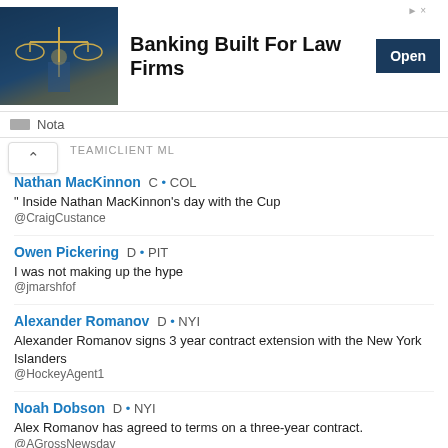[Figure (photo): Ad banner with scales of justice image. Text reads: Banking Built For Law Firms. Open button.]
Nota
TEAMICLIENT ML
Nathan MacKinnon  C • COL
" Inside Nathan MacKinnon's day with the Cup
@CraigCustance
Owen Pickering  D • PIT
I was not making up the hype
@jmarshfof
Alexander Romanov  D • NYI
Alexander Romanov signs 3 year contract extension with the New York Islanders
@HockeyAgent1
Noah Dobson  D • NYI
Alex Romanov has agreed to terms on a three-year contract.
@AGrossNewsday
Alexander Romanov  D • NYI
#Isles News: The New York Islanders have signed defenseman Alexander Romanov to a three-year contract